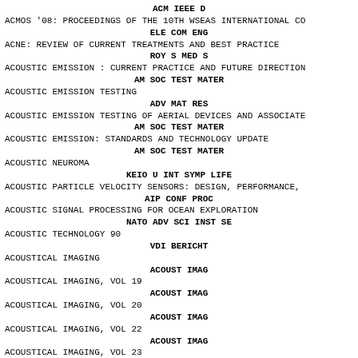ACM IEEE D
ACMOS '08: PROCEEDINGS OF THE 10TH WSEAS INTERNATIONAL CO
ELE COM ENG
ACNE: REVIEW OF CURRENT TREATMENTS AND BEST PRACTICE
ROY S MED S
ACOUSTIC EMISSION : CURRENT PRACTICE AND FUTURE DIRECTION
AM SOC TEST MATER
ACOUSTIC EMISSION TESTING
ADV MAT RES
ACOUSTIC EMISSION TESTING OF AERIAL DEVICES AND ASSOCIATE
AM SOC TEST MATER
ACOUSTIC EMISSION: STANDARDS AND TECHNOLOGY UPDATE
AM SOC TEST MATER
ACOUSTIC NEUROMA
KEIO U INT SYMP LIFE
ACOUSTIC PARTICLE VELOCITY SENSORS: DESIGN, PERFORMANCE,
AIP CONF PROC
ACOUSTIC SIGNAL PROCESSING FOR OCEAN EXPLORATION
NATO ADV SCI INST SE
ACOUSTIC TECHNOLOGY 90
VDI BERICHT
ACOUSTICAL IMAGING
ACOUST IMAG
ACOUSTICAL IMAGING, VOL 19
ACOUST IMAG
ACOUSTICAL IMAGING, VOL 20
ACOUST IMAG
ACOUSTICAL IMAGING, VOL 22
ACOUST IMAG
ACOUSTICAL IMAGING, VOL 23